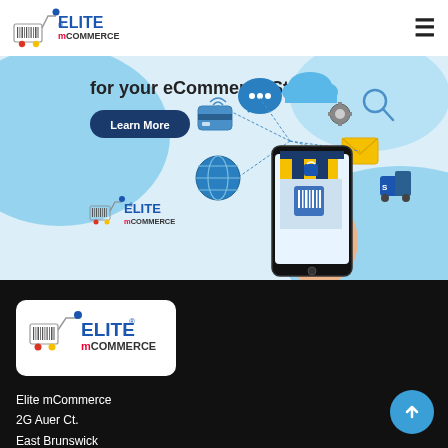[Figure (logo): Elite mCommerce logo with shopping cart icon — top navigation header]
[Figure (illustration): Elite mCommerce banner advertisement: 'for your eCommerce Store' text, Learn More button, ecommerce icons (credit card, chat, cloud, search, email, globe, delivery), hand holding phone with store app, Elite mCommerce logo]
[Figure (logo): Elite mCommerce logo in white box in footer]
Elite mCommerce
2G Auer Ct.
East Brunswick
NJ 08816